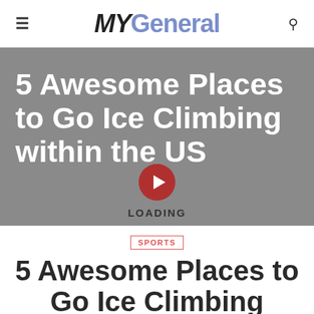MYGeneral
[Figure (screenshot): Hero banner with gray background showing article title '5 Awesome Places to Go Ice Climbing within the US' in white bold text, a red play button circle in the center, and LOADING text below]
SPORTS
5 Awesome Places to Go Ice Climbing within the US